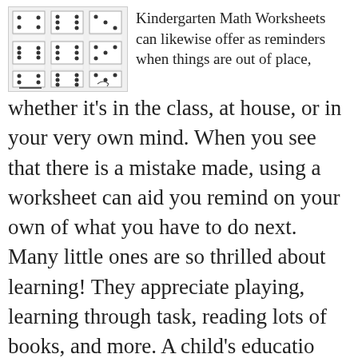[Figure (illustration): Grid of domino-style tiles showing dot patterns, arranged in 3x3 layout with a small arrow/pencil icon at bottom right]
Kindergarten Math Worksheets can likewise offer as reminders when things are out of place, whether it's in the class, at house, or in your very own mind. When you see that there is a mistake made, using a worksheet can aid you remind on your own of what you have to do next. Many little ones are so thrilled about learning! They appreciate playing, learning through task, reading lots of books, and more. A child's educatio
Recent Search Terms
Free Printable Baby Shower Games With Answers
simple printable crossword puzzles for adults